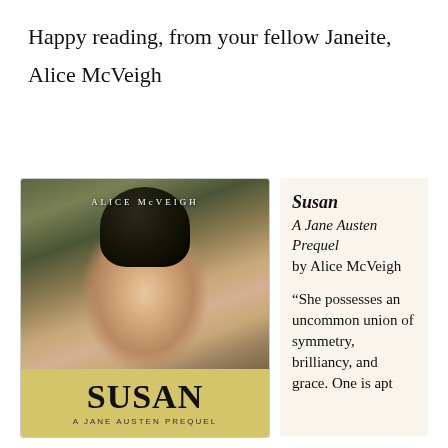Happy reading, from your fellow Janeite,
Alice McVeigh
[Figure (illustration): Book cover of 'Susan: A Jane Austen Prequel' by Alice McVeigh, showing a classical portrait painting of a young woman in a bonnet against a dark background, with a yellow lower section displaying the title 'SUSAN' in large bold letters and subtitle 'A JANE AUSTEN PREQUEL']
Susan
A Jane Austen Prequel
by Alice McVeigh

“She possesses an uncommon union of symmetry, brilliancy, and grace. One is apt